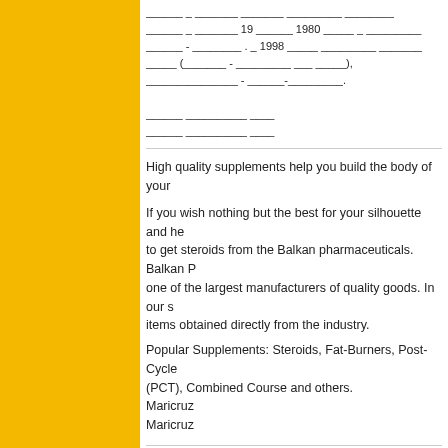______ _ _______ 19 ______ 1980 _____ _ _________ ______ - ________ . _ 1998 _____ _________ ______ _____ (_______ - _________ ___ _____), _______________ - ______-_________. ______ __________ ____ ______ __________ ____
High quality supplements help you build the body of your
If you wish nothing but the best for your silhouette and he to get steroids from the Balkan pharmaceuticals. Balkan P one of the largest manufacturers of quality goods. In our s items obtained directly from the industry.

Popular Supplements: Steroids, Fat-Burners, Post-Cycle (PCT), Combined Course and others.
Maricruz
Maricruz
You actually explained that very well!
Shawna
https://americandental.ru/; Lucio,
Wow tons of helpful facts.
dog porno
video porno